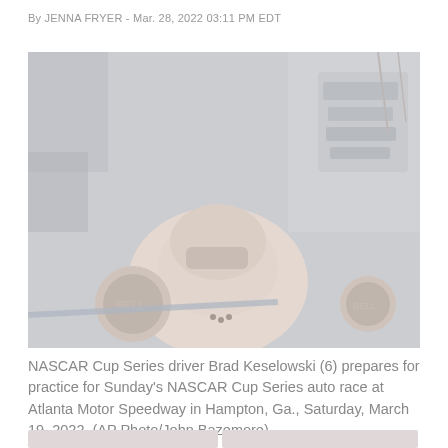By JENNA FRYER - Mar. 28, 2022 03:11 PM EDT
[Figure (photo): Aerial/overhead view of NASCAR Cup Series car with driver Brad Keselowski (6) in the cockpit, showing the Bell helmets and car body. Photo taken at Atlanta Motor Speedway.]
NASCAR Cup Series driver Brad Keselowski (6) prepares for practice for Sunday's NASCAR Cup Series auto race at Atlanta Motor Speedway in Hampton, Ga., Saturday, March 19, 2022. (AP Photo/John Bazemore)